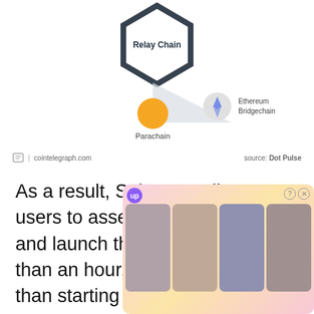[Figure (schematic): Polkadot architecture diagram showing a hexagonal Relay Chain at top, connected via a triangle/wedge shape to a Parachain (gold circle) on the left and an Ethereum Bridgechain (grey circle with Ethereum logo) on the right, with labels for each component.]
source: Dot Pulse | cointelegraph.com
As a result, Substrate allows users to assemble a few palettes and launch their chains in less than an hour, which is far easier than starting from scratch. In the future, they may be far superior to Ethereum at completing specific tasks. Furthermore, they can st[ill communicate with] a cross-c[hain messaging protocol devel]oped for Po[lkadot, allowing interoperability bet]ween